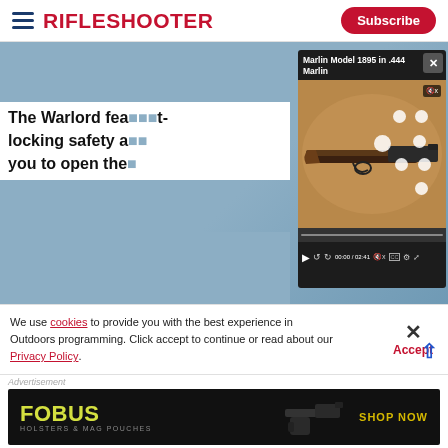RifleShooter | Subscribe
[Figure (screenshot): RifleShooter website screenshot showing a rifle article with embedded video player overlay titled 'Marlin Model 1895 in .444 Marlin' at 00:00 / 02:41, with article text 'The Warlord fea... locking safety a... you to open the...' visible on blue background]
The Warlord fea... locking safety a... you to open the...
We use cookies to provide you with the best experience in Outdoors programming. Click accept to continue or read about our Privacy Policy.
Advertisement
[Figure (screenshot): FOBUS Holsters & Mag Pouches advertisement banner with yellow-green FOBUS logo, dark background, gun image, and SHOP NOW button]